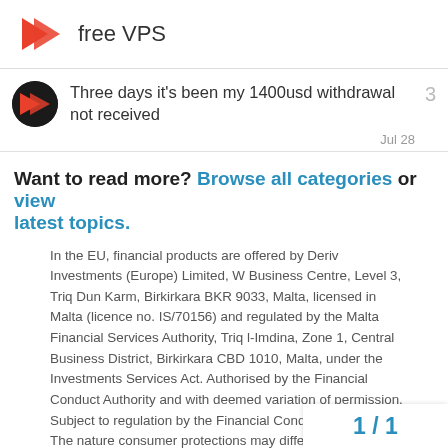free VPS
Three days it's been my 1400usd withdrawal not received
Jul 28
Want to read more? Browse all categories or view latest topics.
In the EU, financial products are offered by Deriv Investments (Europe) Limited, W Business Centre, Level 3, Triq Dun Karm, Birkirkara BKR 9033, Malta, licensed in Malta (licence no. IS/70156) and regulated by the Malta Financial Services Authority, Triq l-Imdina, Zone 1, Central Business District, Birkirkara CBD 1010, Malta, under the Investments Services Act. Authorised by the Financial Conduct Authority and with deemed variation of permission. Subject to regulation by the Financial Conduct Authority. The nature consumer protections may differ from th based in the UK. Details of the Financi
1 / 1